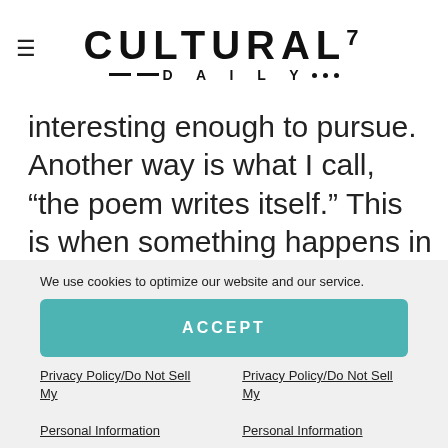CULTURAL7 —DAILY•••
interesting enough to pursue. Another way is what I call, “the poem writes itself.” This is when something happens in my life, or I see some juxtaposition of events or objects that would make a good poem. Then I go about trying to capture the idea and let the lines surprise me along the way.
We use cookies to optimize our website and our service.
ACCEPT
Privacy Policy/Do Not Sell My Personal Information
Privacy Policy/Do Not Sell My Personal Information